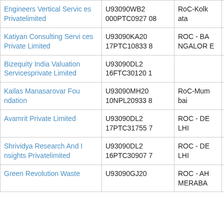| Engineers Vertical Services Privatelimited | U93090WB2000PTC092708 | RoC-Kolkata | Active |
| Katiyan Consulting Services Private Limited | U93090KA2017PTC108338 | ROC - BANGALORE | Active |
| Bizequity India Valuation Servicesprivate Limited | U93090DL2016FTC301201 |  | Active |
| Kailas Manasarovar Foundation | U93090MH2010NPL209338 | RoC-Mumbai | Active |
| Avamrit Private Limited | U93090DL2017PTC317557 | ROC - DELHI | Active |
| Shrividya Research And Insights Privatelimited | U93090DL2016PTC309077 | ROC - DELHI | Active |
| Green Revolution Waste | U93090GJ20 | ROC - AHMEDARA | Active |